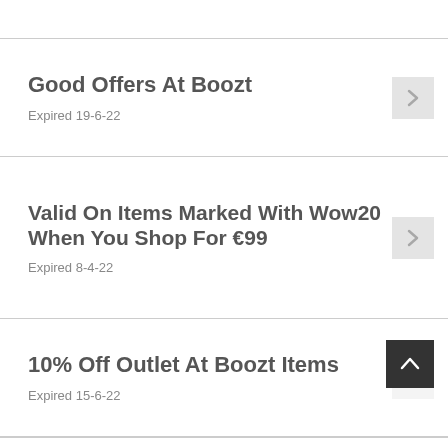Good Offers At Boozt
Expired 19-6-22
Valid On Items Marked With Wow20 When You Shop For €99
Expired 8-4-22
10% Off Outlet At Boozt Items
Expired 15-6-22